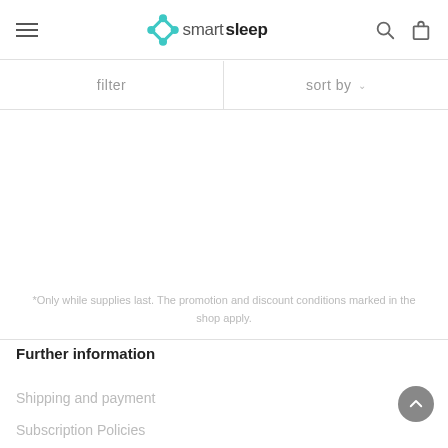smartsleep — filter | sort by
filter
sort by
*Only while supplies last. The promotion and discount conditions marked in the shop apply.
Further information
Shipping and payment
Subscription Policies